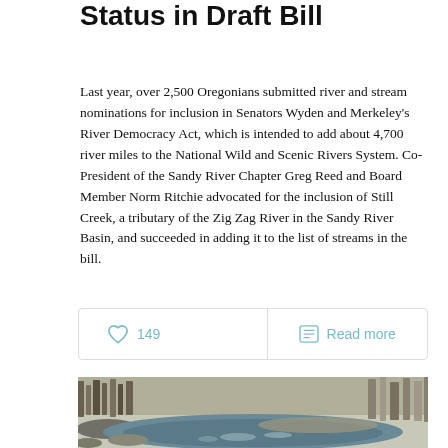Status in Draft Bill
Last year, over 2,500 Oregonians submitted river and stream nominations for inclusion in Senators Wyden and Merkeley’s River Democracy Act, which is intended to add about 4,700 river miles to the National Wild and Scenic Rivers System. Co-President of the Sandy River Chapter Greg Reed and Board Member Norm Ritchie advocated for the inclusion of Still Creek, a tributary of the Zig Zag River in the Sandy River Basin, and succeeded in adding it to the list of streams in the bill.
149  |  Read more
[Figure (photo): Photograph of a river with calm blue-green water winding through a landscape with bare trees and rocky shoreline, taken in winter or early spring.]